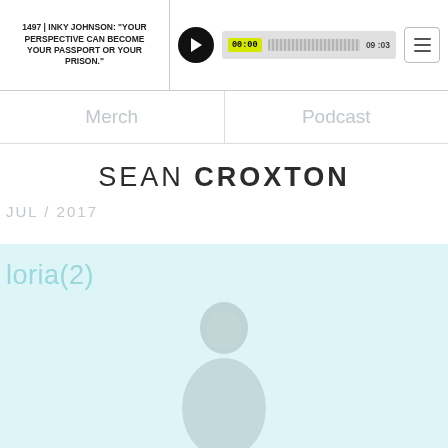1497 | INKY JOHNSON: "YOUR PERSPECTIVE CAN BECOME YOUR PASSPORT OR YOUR PRISON."
00:00  09:03
Merch
Podcast
SEAN CROXTON
JUL / 2017
loria(2)